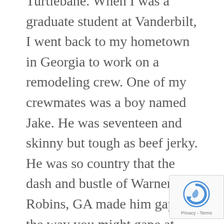Turtlebane. When I was a graduate student at Vanderbilt, I went back to my hometown in Georgia to work on a remodeling crew. One of my crewmates was a boy named Jake. He was seventeen and skinny but tough as beef jerky. He was so country that the dash and bustle of Warner Robins, GA made him gape the way you might gape at Times Square, and any time we went to a restaurant for lunch, he had the unsettling habit of telling the town girls how pretty they were.
Most mornings Jake came to work
[Figure (logo): reCAPTCHA logo with Privacy and Terms text]